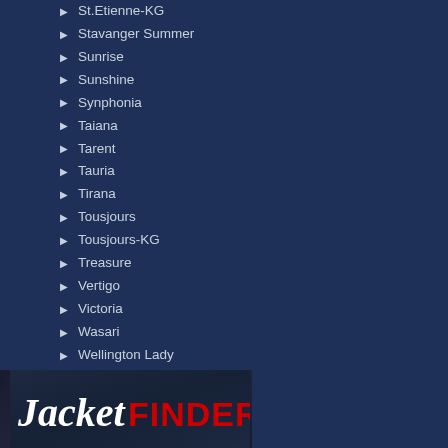St.Etienne-KG
Stavanger Summer
Sunrise
Sunshine
Synphonia
Taiana
Tarent
Tauria
Tirana
Tousjours
Tousjours-KG
Treasure
Vertigo
Victoria
Wasari
Wellington Lady
Westside
Weybridge
Shoes
T-Shirts
Winter
Men's
Children
Accessories
[Figure (logo): JacketFinder logo with italic white 'Jacket' and bold red 'FINDER' text on dark background]